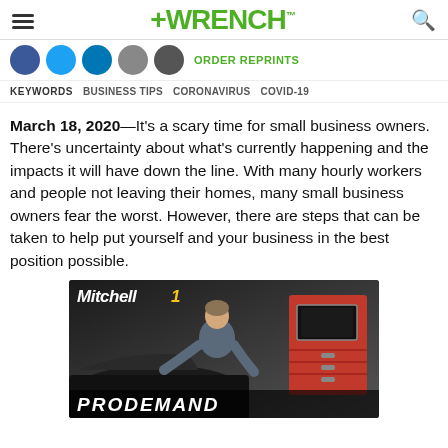+WRENCH
ORDER REPRINTS
KEYWORDS  BUSINESS TIPS  CORONAVIRUS  COVID-19
March 18, 2020—It's a scary time for small business owners. There's uncertainty about what's currently happening and the impacts it will have down the line. With many hourly workers and people not leaving their homes, many small business owners fear the worst. However, there are steps that can be taken to help put yourself and your business in the best position possible.
[Figure (photo): Mitchell 1 advertisement photo showing a mechanic working on a car engine with a red toolbox in the background. Text reads PRODEMAND at the bottom.]